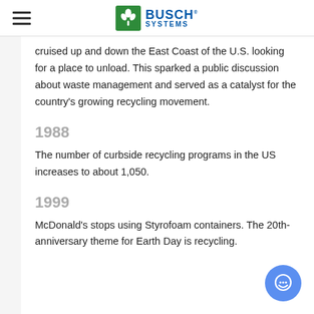Busch Systems
cruised up and down the East Coast of the U.S. looking for a place to unload. This sparked a public discussion about waste management and served as a catalyst for the country's growing recycling movement.
1988
The number of curbside recycling programs in the US increases to about 1,050.
1999
McDonald's stops using Styrofoam containers. The 20th-anniversary theme for Earth Day is recycling.